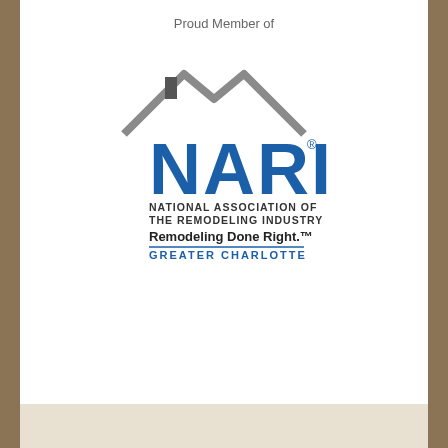Proud Member of
[Figure (logo): NARI - National Association of the Remodeling Industry, Remodeling Done Right. Greater Charlotte chapter logo with house roofline graphic and blue NARI lettering.]
Kolby Construction 2022